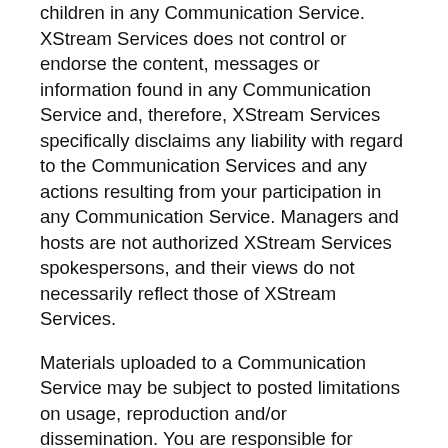children in any Communication Service. XStream Services does not control or endorse the content, messages or information found in any Communication Service and, therefore, XStream Services specifically disclaims any liability with regard to the Communication Services and any actions resulting from your participation in any Communication Service. Managers and hosts are not authorized XStream Services spokespersons, and their views do not necessarily reflect those of XStream Services.
Materials uploaded to a Communication Service may be subject to posted limitations on usage, reproduction and/or dissemination. You are responsible for adhering to such limitations if you download the materials.
MATERIALS PROVIDED TO XStream Services OR POSTED AT ANY XStream Services WEB SITE